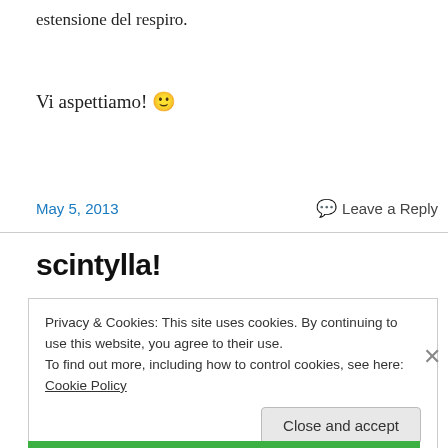estensione del respiro.
Vi aspettiamo! 🙂
May 5, 2013    💬 Leave a Reply
scintylla!
Privacy & Cookies: This site uses cookies. By continuing to use this website, you agree to their use.
To find out more, including how to control cookies, see here: Cookie Policy
Close and accept